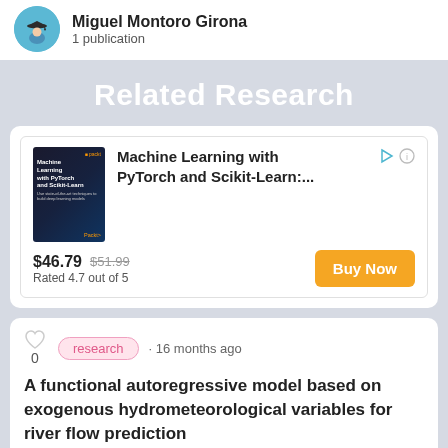Miguel Montoro Girona
1 publication
Related Research
[Figure (other): Advertisement for book: Machine Learning with PyTorch and Scikit-Learn, $46.79 (was $51.99), Rated 4.7 out of 5, Buy Now button]
research · 16 months ago
A functional autoregressive model based on exogenous hydrometeorological variables for river flow prediction
In this research, a functional time series model was